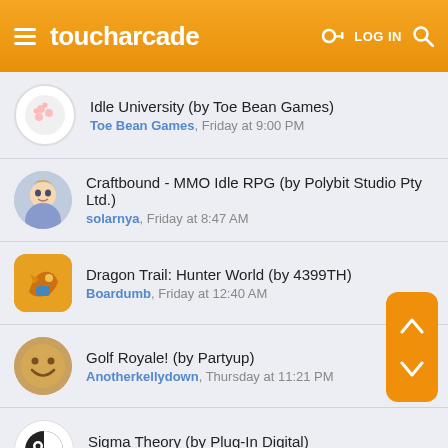toucharcade — LOG IN
Idle University (by Toe Bean Games) — Toe Bean Games, Friday at 9:00 PM
Craftbound - MMO Idle RPG (by Polybit Studio Pty Ltd.) — solarnya, Friday at 8:47 AM
Dragon Trail: Hunter World (by 4399TH) — Boardumb, Friday at 12:40 AM
Golf Royale! (by Partyup) — Anotherkellydown, Thursday at 11:21 PM
Sigma Theory (by Plug-In Digital) — Brightsiderus, Thursday at 5:54 PM
Sweet of World 2 [GAME][FREE] — Infinitylegend, Thursday at 4:30 PM